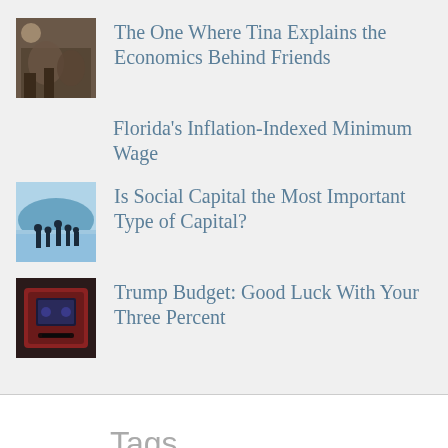The One Where Tina Explains the Economics Behind Friends
Florida's Inflation-Indexed Minimum Wage
Is Social Capital the Most Important Type of Capital?
Trump Budget: Good Luck With Your Three Percent
Tags